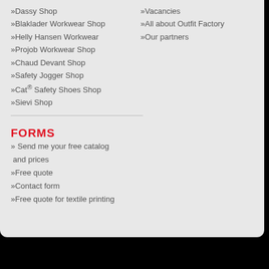»Dassy Shop
»Blaklader Workwear Shop
»Helly Hansen Workwear
»Projob Workwear Shop
»Chaud Devant Shop
»Safety Jogger Shop
»Cat® Safety Shoes Shop
»Sievi Shop
»Vacancies
»All about Outfit Factory
»Our partners
FORMS
»Send me your free catalog and prices
»Free quote
»Contact form
»Free quote for textile printing